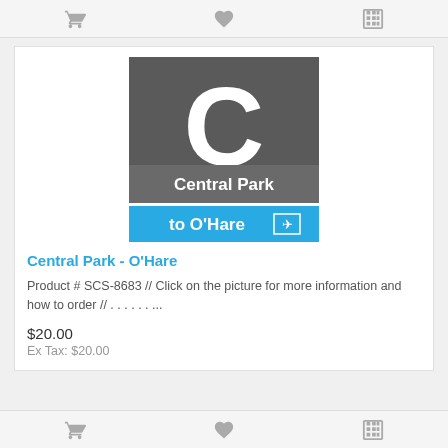[Figure (screenshot): Top navigation toolbar with shopping cart, heart/wishlist, and compare icons]
[Figure (photo): Photo of a CTA transit sign: dark gray background with large white letter C, text 'Central Park', and blue section with text 'to O'Hare' and airplane icon]
Central Park - O'Hare
Product # SCS-8683 // Click on the picture for more information and how to order // . . . . . . ...
$20.00
Ex Tax: $20.00
[Figure (screenshot): Bottom navigation toolbar with shopping cart, heart/wishlist, and compare icons]